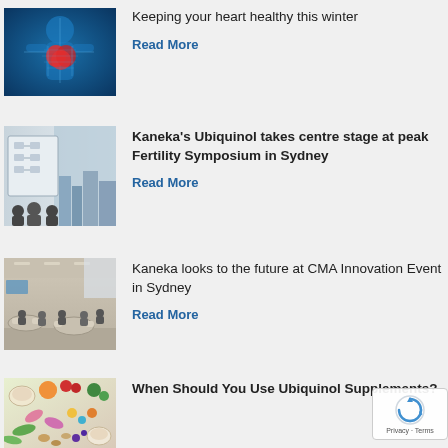[Figure (photo): Blue anatomical illustration of a human body with highlighted red heart]
Keeping your heart healthy this winter
Read More
[Figure (photo): Conference room photo showing a presentation screen with a diagram, audience members in silhouette]
Kaneka's Ubiquinol takes centre stage at peak Fertility Symposium in Sydney
Read More
[Figure (photo): Event venue photo showing a large room with round tables and seated attendees]
Kaneka looks to the future at CMA Innovation Event in Sydney
Read More
[Figure (photo): Food and supplements flatlay with fruits, vegetables, pills and bowls]
When Should You Use Ubiquinol Supplements?